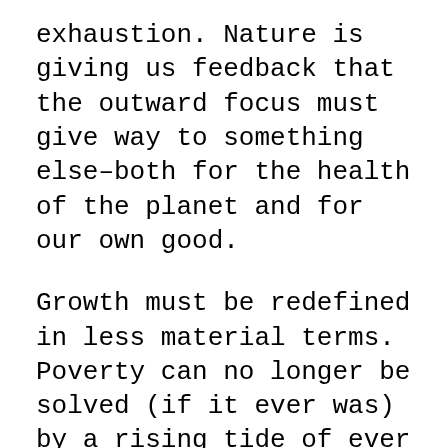exhaustion. Nature is giving us feedback that the outward focus must give way to something else–both for the health of the planet and for our own good.
Growth must be redefined in less material terms. Poverty can no longer be solved (if it ever was) by a rising tide of ever more material production. In terms of the burden on the planet, we have already reached the “limits to growth” foreseen fifty years ago. We must turn now to inner growth, whatever that can mean. Personal wealth, like military might, has traditionally been about